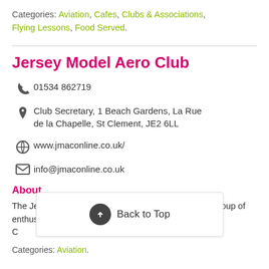Categories: Aviation, Cafes, Clubs & Associations, Flying Lessons, Food Served.
Jersey Model Aero Club
01534 862719
Club Secretary, 1 Beach Gardens, La Rue de la Chapelle, St Clement, JE2 6LL
www.jmaconline.co.uk/
info@jmaconline.co.uk
About
The Jersey Model Aero Club was formed by a small group of enthusiasts who met over a pint at the Cosy C... club has grown over th... e
Categories: Aviation.